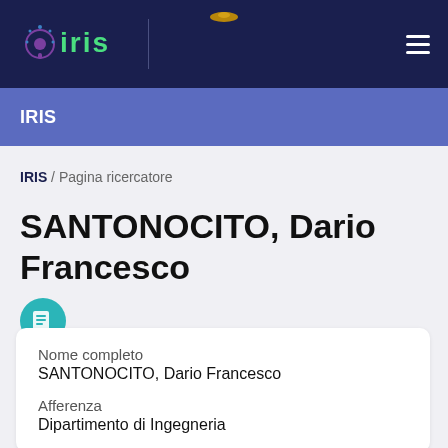IRIS
IRIS
IRIS / Pagina ricercatore
SANTONOCITO, Dario Francesco
Nome completo
SANTONOCITO, Dario Francesco
Afferenza
Dipartimento di Ingegneria